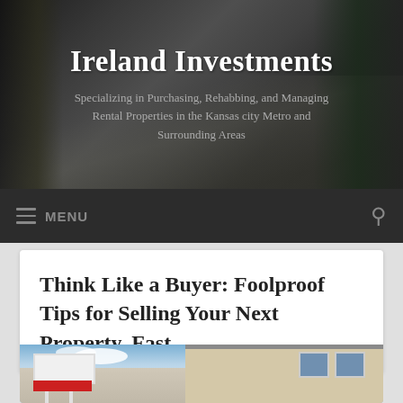Ireland Investments
Specializing in Purchasing, Rehabbing, and Managing Rental Properties in the Kansas city Metro and Surrounding Areas
≡ MENU
Think Like a Buyer: Foolproof Tips for Selling Your Next Property, Fast
[Figure (photo): Exterior photo of a house with a for-sale sign in the foreground, blue sky with clouds in the background]